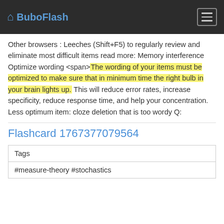BuboFlash
Other browsers : Leeches (Shift+F5) to regularly review and eliminate most difficult items read more: Memory interference Optimize wording <span>The wording of your items must be optimized to make sure that in minimum time the right bulb in your brain lights up. This will reduce error rates, increase specificity, reduce response time, and help your concentration. Less optimum item: cloze deletion that is too wordy Q:
Flashcard 1767377079564
| Tags |
| --- |
| #measure-theory #stochastics |